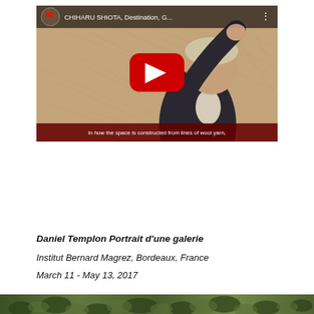[Figure (screenshot): YouTube video thumbnail showing a man in a dark suit gesturing with his right hand raised, background of tangled wool yarn threads in warm beige/tan tones. Video title reads 'CHIHARU SHIOTA, Destination, G...' with a red YouTube play button in the center. Subtitle bar at bottom reads 'in how the space is constructed from lines of wool yarn,']
Daniel Templon Portrait d'une galerie
Institut Bernard Magrez, Bordeaux, France
March 11 - May 13, 2017
[Figure (photo): Partial bottom strip showing a green/foliage outdoor scene, cropped at bottom of page]